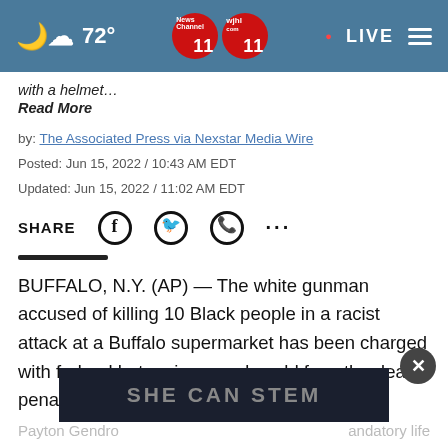72° | News Channel 11 | wjhl 11 | LIVE
with a helmet…
Read More
by: The Associated Press via Nexstar Media Wire
Posted: Jun 15, 2022 / 10:43 AM EDT
Updated: Jun 15, 2022 / 11:02 AM EDT
SHARE
BUFFALO, N.Y. (AP) — The white gunman accused of killing 10 Black people in a racist attack at a Buffalo supermarket has been charged with federal hate crimes and could face the death penalty, according to a crim
SHE CAN STEM
Payton Gendro ... andatory life